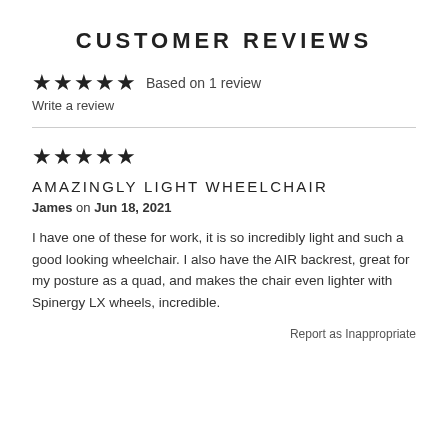CUSTOMER REVIEWS
★★★★★ Based on 1 review
Write a review
★★★★★
AMAZINGLY LIGHT WHEELCHAIR
James on Jun 18, 2021
I have one of these for work, it is so incredibly light and such a good looking wheelchair. I also have the AIR backrest, great for my posture as a quad, and makes the chair even lighter with Spinergy LX wheels, incredible.
Report as Inappropriate